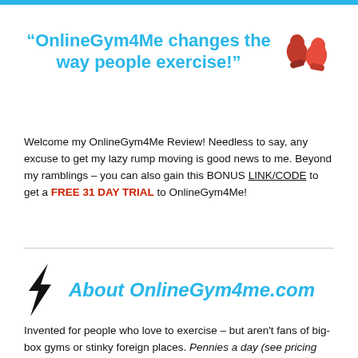"OnlineGym4Me changes the way people exercise!"
Welcome my OnlineGym4Me Review! Needless to say, any excuse to get my lazy rump moving is good news to me. Beyond my ramblings – you can also gain this BONUS LINK/CODE to get a FREE 31 DAY TRIAL to OnlineGym4Me!
About OnlineGym4me.com
Invented for people who love to exercise – but aren't fans of big-box gyms or stinky foreign places. Pennies a day (see pricing lower